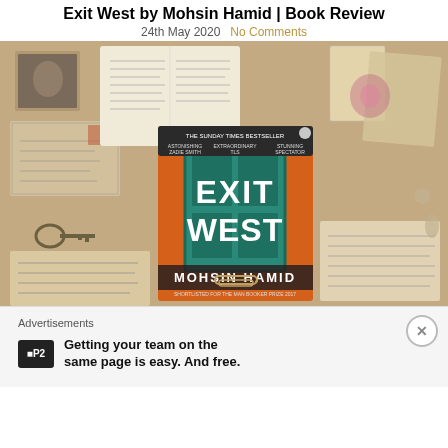Exit West by Mohsin Hamid | Book Review
24th May 2020   No Comments
[Figure (photo): Photo of the book 'Exit West' by Mohsin Hamid placed among vintage postcards, photographs, keys, and handwritten letters on a wooden surface. The orange and teal book cover shows the title EXIT WEST in large white letters with the author name MOHSIN HAMID below. Text on cover includes 'The Sunday Times Bestseller', 'Astonishing - Zadie Smith', 'Extraordinary - TLS', 'Stunning - Spectator', 'Shortlisted for the Man Booker Prize 2017'.]
Advertisements
Getting your team on the same page is easy. And free.